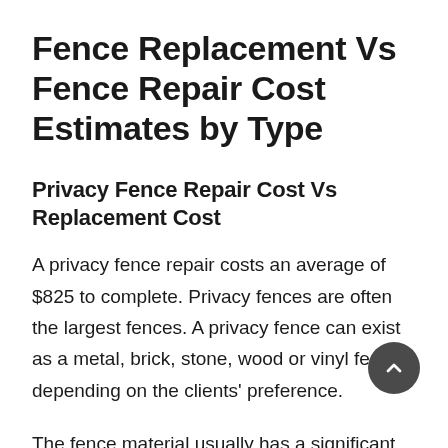Fence Replacement Vs Fence Repair Cost Estimates by Type
Privacy Fence Repair Cost Vs Replacement Cost
A privacy fence repair costs an average of $825 to complete. Privacy fences are often the largest fences. A privacy fence can exist as a metal, brick, stone, wood or vinyl fence depending on the clients' preference.
The fence material usually has a significant